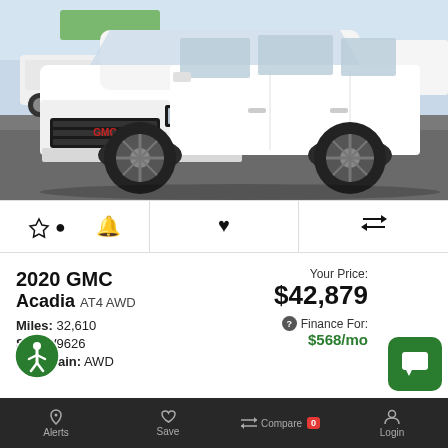[Figure (photo): Front view of a white 2020 GMC Acadia AT4 AWD SUV parked in a lot, shot from a low angle showing the front grille, headlights, and wheels.]
🔔 ♥ ⇄ (alert, save, compare icon row)
2020 GMC
Acadia AT4 AWD
Miles: 32,610
Stk: W9626
Drivetrain: AWD
Your Price:
$42,879
Finance For:
$568/mo
Alerts  Save  Compare 0  Login